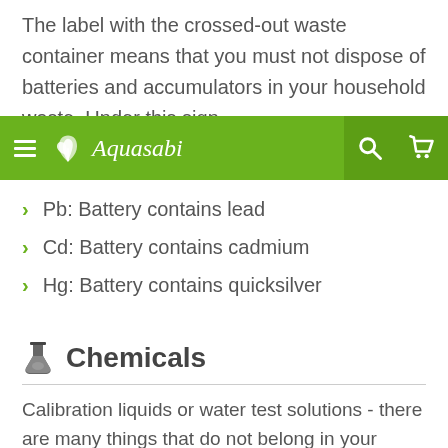The label with the crossed-out waste container means that you must not dispose of batteries and accumulators in your household waste. Under this sign
[Figure (screenshot): Aquasabi website navigation bar with green background, hamburger menu, logo, brand name Aquasabi, search icon, and cart icon]
Pb: Battery contains lead
Cd: Battery contains cadmium
Hg: Battery contains quicksilver
Chemicals
Calibration liquids or water test solutions - there are many things that do not belong in your wastewater. Many towns and municipalities offer separate places